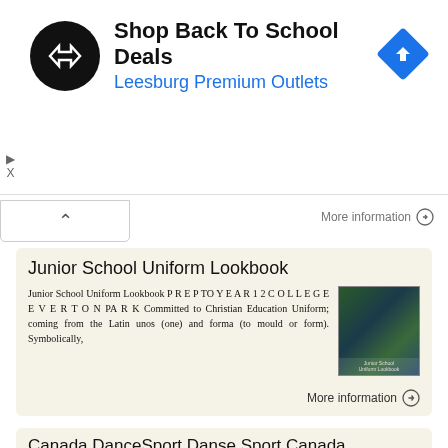[Figure (infographic): Ad banner: black circular logo with double arrow, 'Shop Back To School Deals' in bold, 'Leesburg Premium Outlets' in blue, blue diamond navigation arrow icon on right]
More information ⊙
Junior School Uniform Lookbook
Junior School Uniform Lookbook P R E P TO Y E A R 1 2 C O L L E G E E V E R T O N PA R K Committed to Christian Education Uniform; coming from the Latin unos (one) and forma (to mould or form). Symbolically,
More information ⊙
Canada DanceSport Danse Sport Canada
Canada DanceSport Danse Sport Canada RULE 3 JUVENILE DRESS CODE IMPORTANT NOTE: Rule 1 (General Rules) & Rule 2 (Definition of Terms) apply. Please